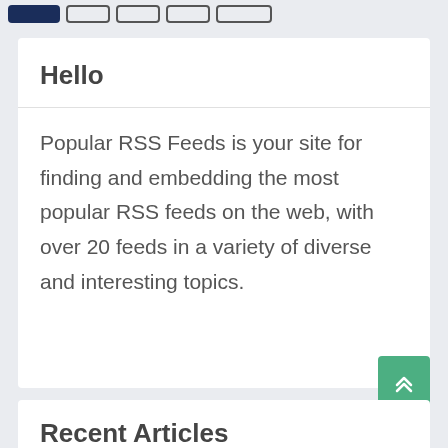[Navigation bar with menu items]
Hello
Popular RSS Feeds is your site for finding and embedding the most popular RSS feeds on the web, with over 20 feeds in a variety of diverse and interesting topics.
Recent Articles